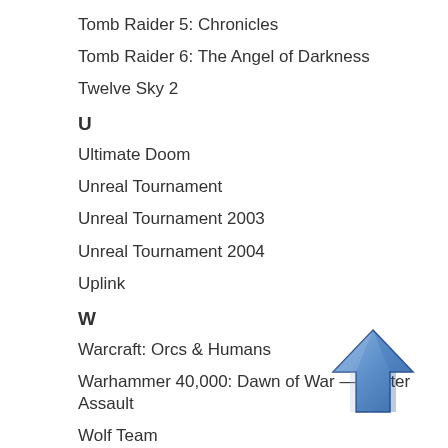Tomb Raider 5: Chronicles
Tomb Raider 6: The Angel of Darkness
Twelve Sky 2
U
Ultimate Doom
Unreal Tournament
Unreal Tournament 2003
Unreal Tournament 2004
Uplink
W
Warcraft: Orcs & Humans
Warhammer 40,000: Dawn of War — Winter Assault
Wolf Team
World of Warcraft
Worms: Reloaded
X
[Figure (illustration): Blue upward-pointing arrow icon]